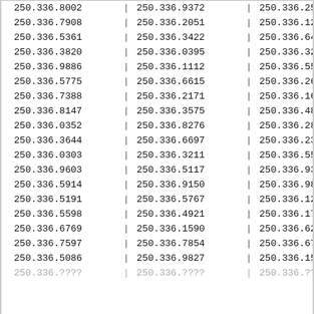| Col1 | Col2 | Col3 |
| --- | --- | --- |
| 250.336.8002 | 250.336.9372 | 250.336.2546 |
| 250.336.7908 | 250.336.2051 | 250.336.1254 |
| 250.336.5361 | 250.336.3422 | 250.336.6467 |
| 250.336.3820 | 250.336.0395 | 250.336.3206 |
| 250.336.9886 | 250.336.1112 | 250.336.5530 |
| 250.336.5775 | 250.336.6615 | 250.336.2655 |
| 250.336.7388 | 250.336.2171 | 250.336.1669 |
| 250.336.8147 | 250.336.3575 | 250.336.4852 |
| 250.336.0352 | 250.336.8276 | 250.336.2843 |
| 250.336.3644 | 250.336.6697 | 250.336.2312 |
| 250.336.0303 | 250.336.3211 | 250.336.5590 |
| 250.336.9603 | 250.336.5117 | 250.336.9322 |
| 250.336.5914 | 250.336.9150 | 250.336.9897 |
| 250.336.5191 | 250.336.5767 | 250.336.1233 |
| 250.336.5598 | 250.336.4921 | 250.336.1735 |
| 250.336.6769 | 250.336.1590 | 250.336.6249 |
| 250.336.7597 | 250.336.7854 | 250.336.6792 |
| 250.336.5086 | 250.336.9827 | 250.336.1516 |
| 250.336.???? | 250.336.???? | 250.336.???? |